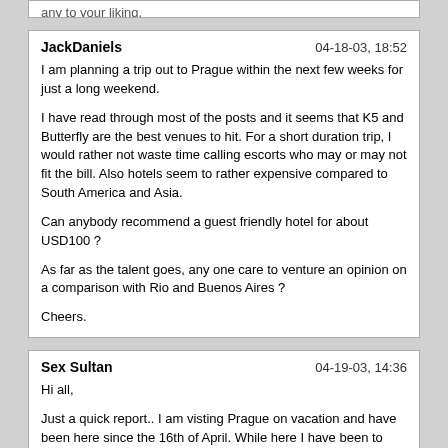any to your liking.
JackDaniels
04-18-03, 18:52

I am planning a trip out to Prague within the next few weeks for just a long weekend.

I have read through most of the posts and it seems that K5 and Butterfly are the best venues to hit. For a short duration trip, I would rather not waste time calling escorts who may or may not fit the bill. Also hotels seem to rather expensive compared to South America and Asia.

Can anybody recommend a guest friendly hotel for about USD100 ?

As far as the talent goes, any one care to venture an opinion on a comparison with Rio and Buenos Aires ?

Cheers.
Sex Sultan
04-19-03, 14:36

Hi all,

Just a quick report.. I am visting Prague on vacation and have been here since the 16th of April. While here I have been to several "nightclubs". I have not been to the legendary K5.. keep meaning to but i always get distracted :-)

OK, the first night went to a place called Vivien Nightclub, it is a little bit out of the way and the only reason I went there, was because I took the advice of a taxi driver. The girls ranged from 6-8. They did not seem to know too much english, thats ok becoz I am well versed in the language of lurve ;-) The full hourly rate was about Kr2500 (I cant be sure though) . The girl was good, seemed to know what she was doing and got the job done. An ok experience.

The second night went to Darling Night club, just off of Wenceslaf square. There are quite a few guzs in bright orange jackets advertising the place. Entry